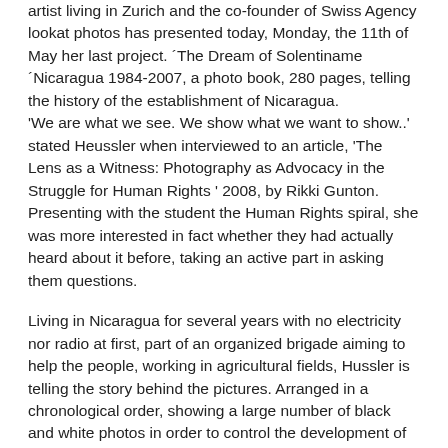artist living in Zurich and the co-founder of Swiss Agency lookat photos has presented today, Monday, the 11th of May her last project. ´The Dream of Solentiname´Nicaragua 1984-2007, a photo book, 280 pages, telling the history of the establishment of Nicaragua. 'We are what we see. We show what we want to show..' stated Heussler when interviewed to an article, 'The Lens as a Witness: Photography as Advocacy in the Struggle for Human Rights ' 2008, by Rikki Gunton. Presenting with the student the Human Rights spiral, she was more interested in fact whether they had actually heard about it before, taking an active part in asking them questions.
Living in Nicaragua for several years with no electricity nor radio at first, part of an organized brigade aiming to help the people, working in agricultural fields, Hussler is telling the story behind the pictures. Arranged in a chronological order, showing a large number of black and white photos in order to control the development of her work, 'photography' she sais 'is my language , my autonomy'.
Heussler, graduated in Photography at the Zurich Art School,